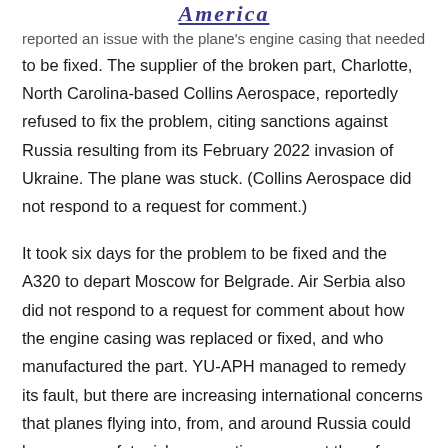America
reported an issue with the plane's engine casing that needed to be fixed. The supplier of the broken part, Charlotte, North Carolina-based Collins Aerospace, reportedly refused to fix the problem, citing sanctions against Russia resulting from its February 2022 invasion of Ukraine. The plane was stuck. (Collins Aerospace did not respond to a request for comment.)
It took six days for the problem to be fixed and the A320 to depart Moscow for Belgrade. Air Serbia also did not respond to a request for comment about how the engine casing was replaced or fixed, and who manufactured the part. YU-APH managed to remedy its fault, but there are increasing international concerns that planes flying into, from, and around Russia could become a safety risk as sanctions prevent them from being maintained properly. Patrick Ky, executive director of the European Union's Aviation Safety